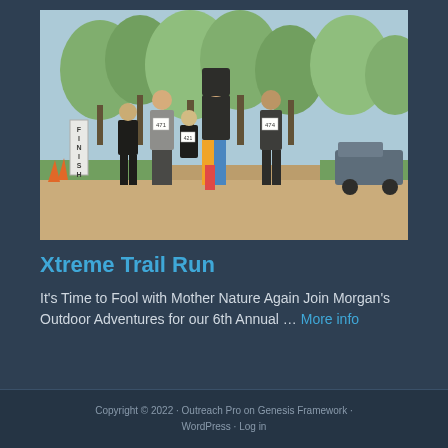[Figure (photo): Outdoor trail run race photo showing multiple runners on a dirt path. A woman in black shirt and colorful pants leads the pack. Other runners with race bibs visible behind her. Trees in background, orange traffic cones on left, finish line sign visible.]
Xtreme Trail Run
It's Time to Fool with Mother Nature Again Join Morgan's Outdoor Adventures for our 6th Annual … More info
Copyright © 2022 · Outreach Pro on Genesis Framework · WordPress · Log in